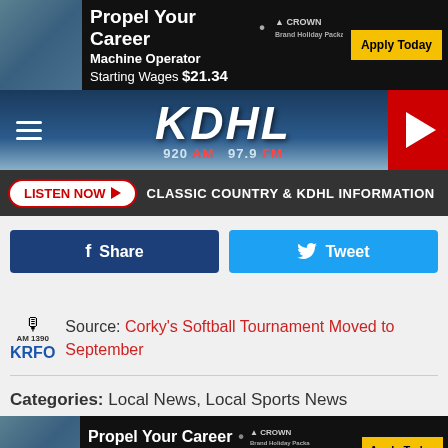[Figure (infographic): Top advertisement banner: Propel Your Career, Machine Operator, Starting Wages $21.34, Crown Brand Holiday Packaging logo, Apply Today button]
[Figure (logo): KDHL radio station navigation bar with logo showing 920 AM and 97.9 FM, hamburger menu on left, play button on right]
[Figure (infographic): Listen Now button with play arrow, followed by text: CLASSIC COUNTRY & KDHL INFORMATION]
[Figure (infographic): Facebook Share button (dark blue) and Twitter Tweet button (light blue)]
Source: Corky's Softball Tournament Moved to September
Categories: Local News, Local Sports News
[Figure (infographic): Bottom advertisement banner: Propel Your Career, Machine Operator, Starting Wages $21.34, Crown Brand Holiday Packaging logo, Apply Today button]